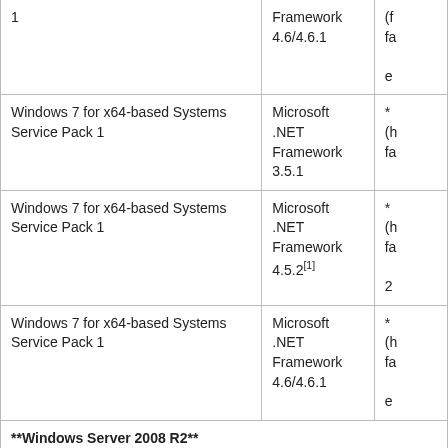| Operating System | Component | Details |
| --- | --- | --- |
| 1 | Framework 4.6/4.6.1 | (f... e... |
| Windows 7 for x64-based Systems Service Pack 1 | Microsoft .NET Framework 3.5.1 | * (h... fa... |
| Windows 7 for x64-based Systems Service Pack 1 | Microsoft .NET Framework 4.5.2[1] | * (h... fa... 2... |
| Windows 7 for x64-based Systems Service Pack 1 | Microsoft .NET Framework 4.6/4.6.1 | * (h... fa... e... |
| **Windows Server 2008 R2** |  |  |
| Windows Server 2008 R2 for x64-based Systems Service Pack 1 | Microsoft .NET Framework | (h... |